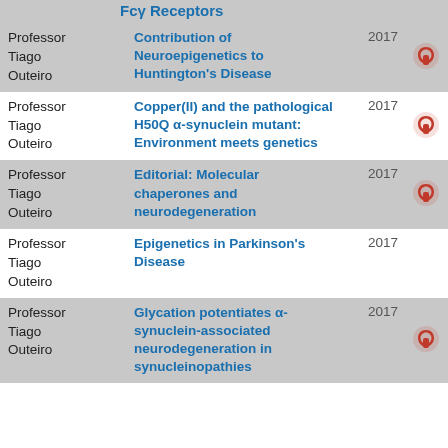| Author | Title | Year | OA |
| --- | --- | --- | --- |
| Professor Tiago Outeiro | Fcγ Receptors |  | OA |
| Professor Tiago Outeiro | Contribution of Neuroepigenetics to Huntington's Disease | 2017 | OA |
| Professor Tiago Outeiro | Copper(II) and the pathological H50Q α-synuclein mutant: Environment meets genetics | 2017 | OA |
| Professor Tiago Outeiro | Editorial: Molecular chaperones and neurodegeneration | 2017 | OA |
| Professor Tiago Outeiro | Epigenetics in Parkinson's Disease | 2017 |  |
| Professor Tiago Outeiro | Glycation potentiates α-synuclein-associated neurodegeneration in synucleinopathies | 2017 | OA |